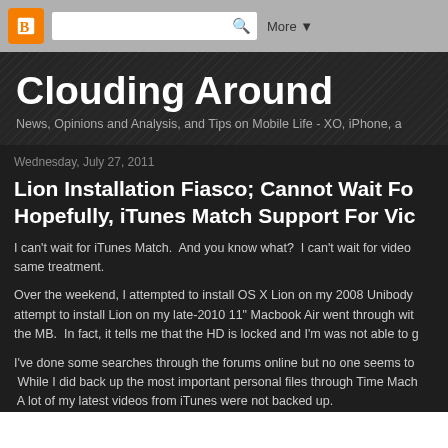Blogger | More ▾
Clouding Around
News, Opinions and Analysis, and Tips on Mobile Life - XO, iPhone, a
Wednesday, July 27, 2011
Lion Installation Fiasco; Cannot Wait Fo... Hopefully, iTunes Match Support For Vic...
I can't wait for iTunes Match.  And you know what?  I can't wait for video same treatment.
Over the weekend, I attempted to install OS X Lion on my 2008 Unibody attempt to install Lion on my late-2010 11" Macbook Air went through wit the MB.  In fact, it tells me that the HD is locked and I'm was not able to g
I've done some searches through the forums online but no one seems to While I did back up the most important personal files through Time Mach A lot of my latest videos from iTunes were not backed up.